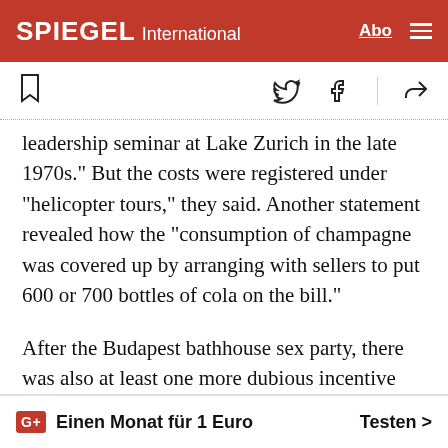SPIEGEL International
leadership seminar at Lake Zurich in the late 1970s." But the costs were registered under "helicopter tours," they said. Another statement revealed how the "consumption of champagne was covered up by arranging with sellers to put 600 or 700 bottles of cola on the bill."
After the Budapest bathhouse sex party, there was also at least one more dubious incentive trip, though the former marketing director and current Ergo board member Ludger Griese did try to prevent similar debauchery. The ers of a competition
Einen Monat für 1 Euro   Testen >